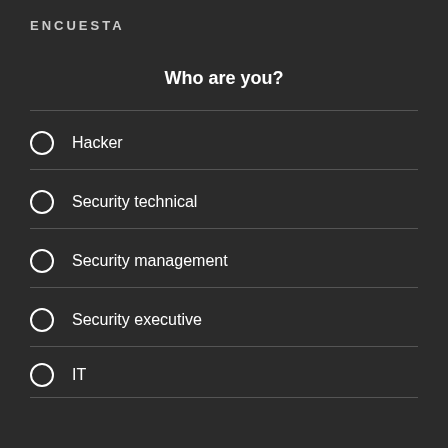ENCUESTA
Who are you?
Hacker
Security technical
Security management
Security executive
IT
Just curious
Vote
View Results